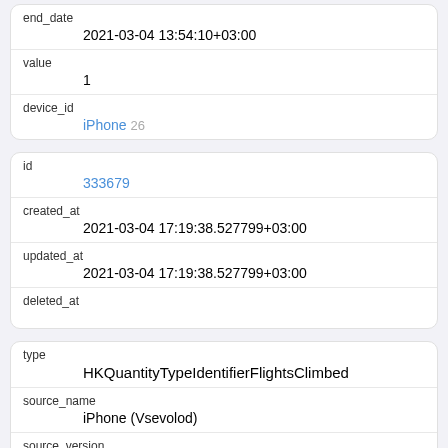| end_date | 2021-03-04 13:54:10+03:00 |
| value | 1 |
| device_id | iPhone 26 |
| id | 333679 |
| created_at | 2021-03-04 17:19:38.527799+03:00 |
| updated_at | 2021-03-04 17:19:38.527799+03:00 |
| deleted_at |  |
| type | HKQuantityTypeIdentifierFlightsClimbed |
| source_name | iPhone (Vsevolod) |
| source_version |  |